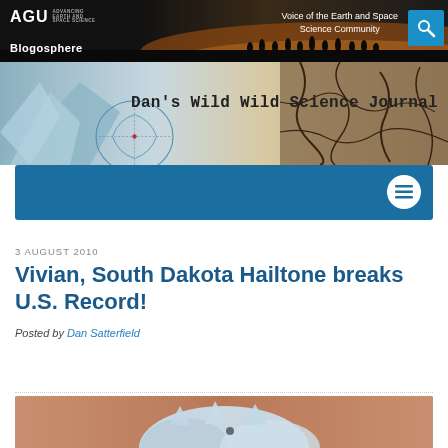AGU Advancing Earth and Space Science — Blogosphere — Voice of the Earth and Space Science Community
[Figure (screenshot): AGU Blogosphere website header with dark background, silhouette of people on horizon, AGU logo, Blogosphere text, and search icon]
[Figure (screenshot): Dan's Wild Wild Science Journal banner with glacier/ice imagery on left and cracked dry earth on right]
[Figure (screenshot): Blue navigation bar with hamburger menu button on right]
3 AUGUST 2010
Vivian, South Dakota Hailtone breaks U.S. Record!
Posted by Dan Satterfield
[Figure (photo): Photo of a large hailstone on a surface, partially visible at bottom of page]